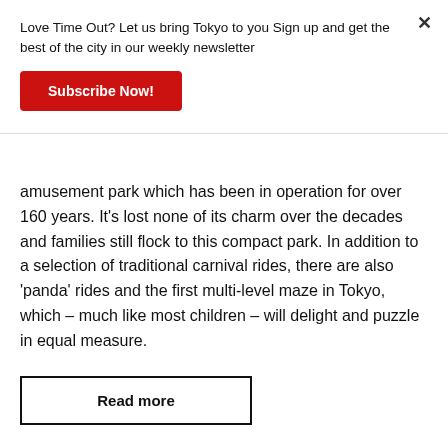Love Time Out? Let us bring Tokyo to you Sign up and get the best of the city in our weekly newsletter
Subscribe Now!
amusement park which has been in operation for over 160 years. It's lost none of its charm over the decades and families still flock to this compact park. In addition to a selection of traditional carnival rides, there are also ‘panda’ rides and the first multi-level maze in Tokyo, which – much like most children – will delight and puzzle in equal measure.
Read more